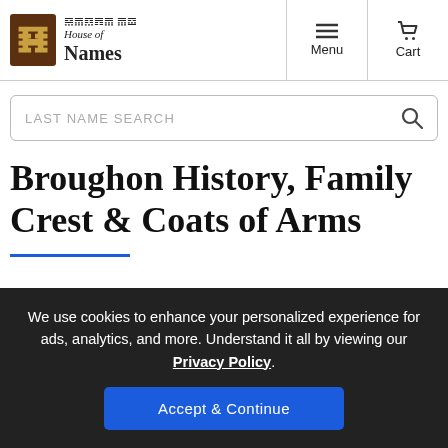House of Names — Menu | Cart
[Figure (logo): House of Names logo with gothic H monogram and blackletter text reading House of Names]
LAST NAME SEARCH
Broughon History, Family Crest & Coats of Arms
We use cookies to enhance your personalized experience for ads, analytics, and more. Understand it all by viewing our Privacy Policy.
Accept & Continue